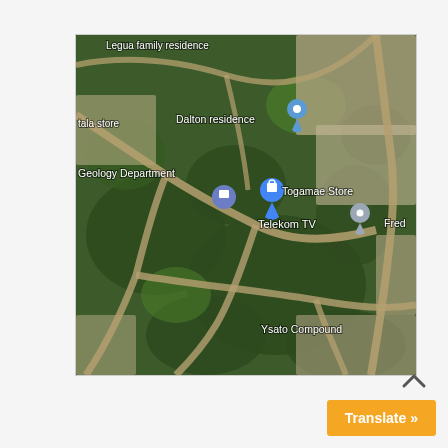[Figure (map): Aerial/satellite Google Maps view showing labeled locations including: Legua family residence, tala store, Dalton residence (with blue pin), Geology Department, Togamae Store (with blue shopping bag pin), Telekom TV (with grey pin), Fred, Ysato Compound. Roads and vegetation visible.]
Translate »